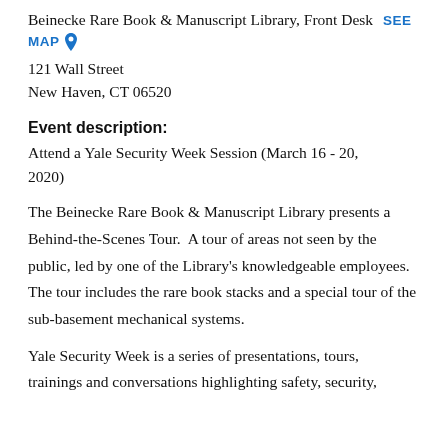Beinecke Rare Book & Manuscript Library, Front Desk  SEE MAP 📍
121 Wall Street
New Haven, CT 06520
Event description:
Attend a Yale Security Week Session (March 16 - 20, 2020)
The Beinecke Rare Book & Manuscript Library presents a Behind-the-Scenes Tour.  A tour of areas not seen by the public, led by one of the Library's knowledgeable employees.  The tour includes the rare book stacks and a special tour of the sub-basement mechanical systems.
Yale Security Week is a series of presentations, tours, trainings and conversations highlighting safety, security,